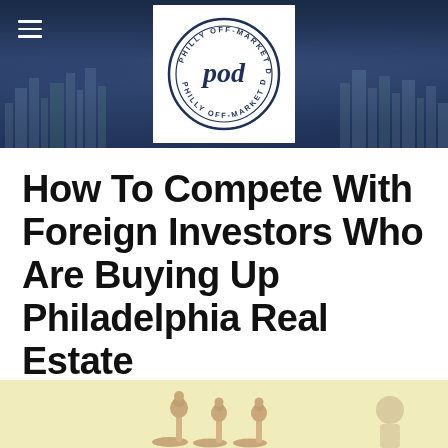[Figure (logo): Philly Off-Market Deals (POD) logo — circular emblem with 'pod' in script, surrounded by text 'PHILLY OFF-MARKET DEALS' on a city skyline banner header]
How To Compete With Foreign Investors Who Are Buying Up Philadelphia Real Estate
April 17, 2020
By dbok1
[Figure (photo): Partial image of chess pieces on a light yellow/cream background, partially visible at bottom of page]